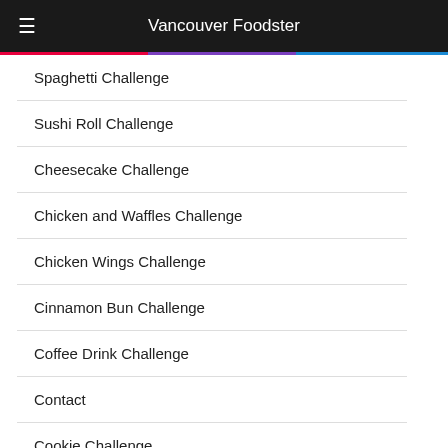Vancouver Foodster
Spaghetti Challenge
Sushi Roll Challenge
Cheesecake Challenge
Chicken and Waffles Challenge
Chicken Wings Challenge
Cinnamon Bun Challenge
Coffee Drink Challenge
Contact
Cookie Challenge
Croissant Challenge
Curry Challenge